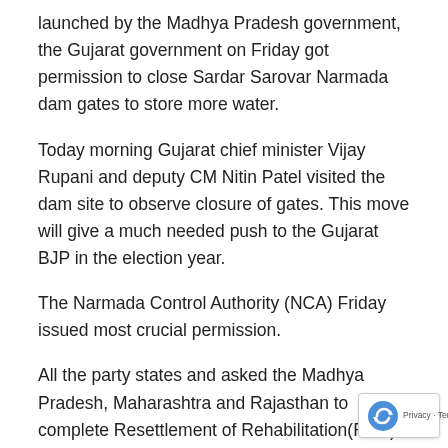launched by the Madhya Pradesh government, the Gujarat government on Friday got permission to close Sardar Sarovar Narmada dam gates to store more water.
Today morning Gujarat chief minister Vijay Rupani and deputy CM Nitin Patel visited the dam site to observe closure of gates. This move will give a much needed push to the Gujarat BJP in the election year.
The Narmada Control Authority (NCA) Friday issued most crucial permission.
All the party states and asked the Madhya Pradesh, Maharashtra and Rajasthan to complete Resettlement of Rehabilitation(R&R) of the Project Affect Families(PAF) to strictly comply with the Supreme Court order to com all the formalities before 31st of July required for the closing of the gates of the Sardar Sarovar Narmada dam...